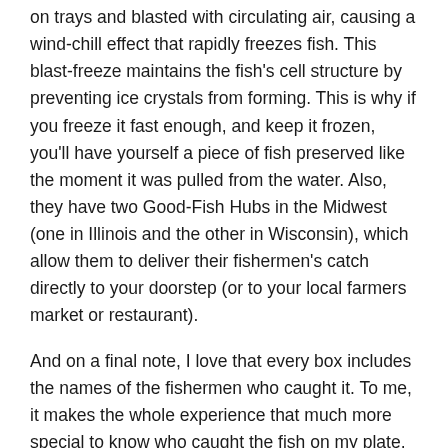on trays and blasted with circulating air, causing a wind-chill effect that rapidly freezes fish. This blast-freeze maintains the fish's cell structure by preventing ice crystals from forming. This is why if you freeze it fast enough, and keep it frozen, you'll have yourself a piece of fish preserved like the moment it was pulled from the water. Also, they have two Good-Fish Hubs in the Midwest (one in Illinois and the other in Wisconsin), which allow them to deliver their fishermen's catch directly to your doorstep (or to your local farmers market or restaurant).
And on a final note, I love that every box includes the names of the fishermen who caught it. To me, it makes the whole experience that much more special to know who caught the fish on my plate.
Products Featured
...